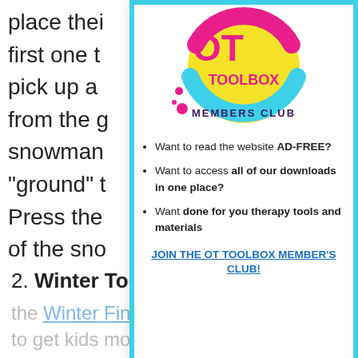place their first one to pick up a from the g snowman "ground" t Press the of the sno details lik
[Figure (logo): OT Toolbox Members Club circular logo with yellow background, pink and blue lettering]
Want to read the website AD-FREE?
Want to access all of our downloads in one place?
Want done for you therapy tools and materials
JOIN THE OT TOOLBOX MEMBER'S CLUB!
2. Winter Toothpick Art– Use the Winter Fine Motor Kit materials to get kids moving with the toothpick